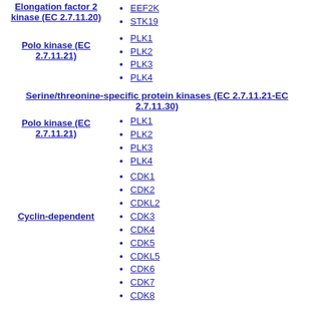Elongation factor 2 kinase (EC 2.7.11.20)
EEF2K
STK19
Polo kinase (EC 2.7.11.21)
PLK1
PLK2
PLK3
PLK4
Serine/threonine-specific protein kinases (EC 2.7.11.21-EC 2.7.11.30)
Polo kinase (EC 2.7.11.21)
PLK1
PLK2
PLK3
PLK4
CDK1
CDK2
CDKL2
CDK3
CDK4
CDK5
CDKL5
CDK6
CDK7
CDK8
Cyclin-dependent